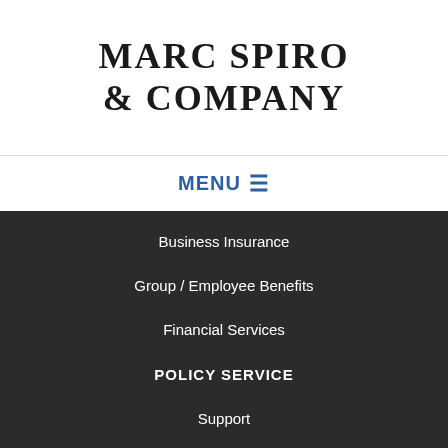MARC SPIRO & COMPANY
MENU ≡
Business Insurance
Group / Employee Benefits
Financial Services
POLICY SERVICE
Support